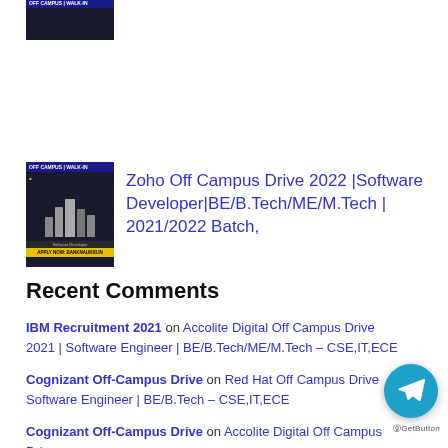[Figure (screenshot): Small thumbnail image with dark background, blue banner text, yellow bottom bar with APPLY NOW text]
[Figure (screenshot): Thumbnail for Zoho Off Campus Drive 2022 showing people in professional attire, dark background, yellow apply now bar]
Zoho Off Campus Drive 2022 |Software Developer|BE/B.Tech/ME/M.Tech | 2021/2022 Batch,
Recent Comments
IBM Recruitment 2021 on Accolite Digital Off Campus Drive 2021 | Software Engineer | BE/B.Tech/ME/M.Tech – CSE,IT,ECE
Cognizant Off-Campus Drive on Red Hat Off Campus Drive Software Engineer | BE/B.Tech – CSE,IT,ECE
Cognizant Off-Campus Drive on Accolite Digital Off Campus Drive